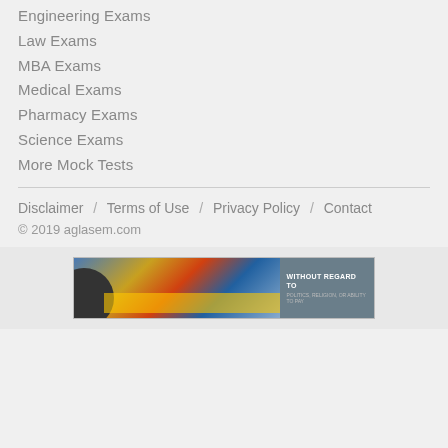Engineering Exams
Law Exams
MBA Exams
Medical Exams
Pharmacy Exams
Science Exams
More Mock Tests
Disclaimer / Terms of Use / Privacy Policy / Contact
© 2019 aglasem.com
[Figure (infographic): Advertisement banner showing a cargo airplane being loaded on tarmac with text WITHOUT REGARD TO POLITICS, RELIGION, OR ABILITY TO PAY]